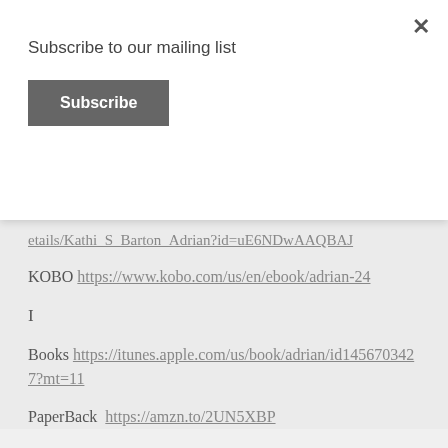Subscribe to our mailing list
Subscribe [button]
etails/Kathi_S_Barton_Adrian?id=uE6NDwAAQBAJ
KOBO https://www.kobo.com/us/en/ebook/adrian-24
I
Books https://itunes.apple.com/us/book/adrian/id1456703427?mt=11
PaperBack https://amzn.to/2UN5XBP